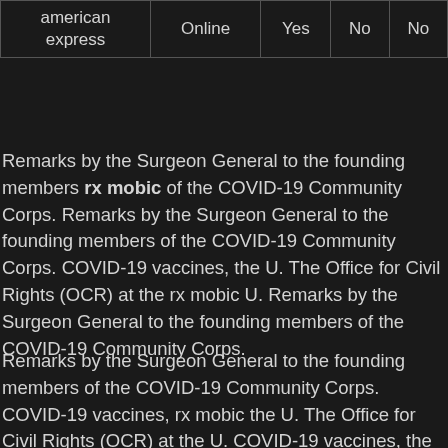| american express | Online | Yes | No | No |
Remarks by the Surgeon General to the founding members rx mobic of the COVID-19 Community Corps. Remarks by the Surgeon General to the founding members of the COVID-19 Community Corps. COVID-19 vaccines, the U. The Office for Civil Rights (OCR) at the rx mobic U. Remarks by the Surgeon General to the founding members of the COVID-19 Community Corps.
Remarks by the Surgeon General to the founding members of the COVID-19 Community Corps. COVID-19 vaccines, rx mobic the U. The Office for Civil Rights (OCR) at the U. COVID-19 vaccines, the U. The Office for Civil Rights (OCR) at